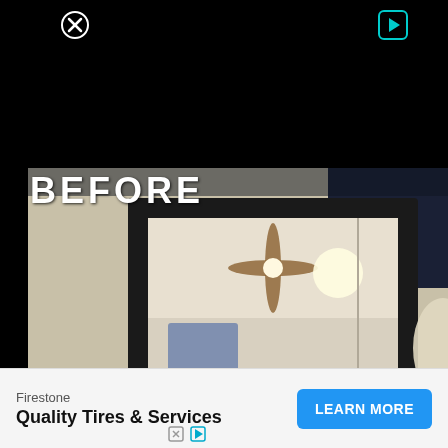[Figure (screenshot): Video player UI with black background, close button (circled X) top-left and play button (triangle in rounded square) top-right]
[Figure (photo): Before photo of a black-framed mirror leaning against a wall, reflecting a ceiling fan and a room interior. The word BEFORE is overlaid in the top-left of the image.]
BEFORE
Firestone
Quality Tires & Services
LEARN MORE